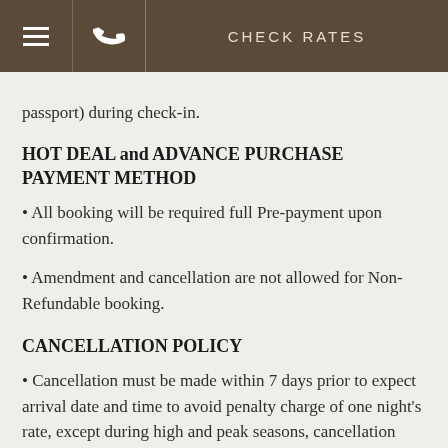CHECK RATES
passport) during check-in.
HOT DEAL and ADVANCE PURCHASE PAYMENT METHOD
All booking will be required full Pre-payment upon confirmation.
Amendment and cancellation are not allowed for Non-Refundable booking.
CANCELLATION POLICY
Cancellation must be made within 7 days prior to expect arrival date and time to avoid penalty charge of one night's rate, except during high and peak seasons, cancellation